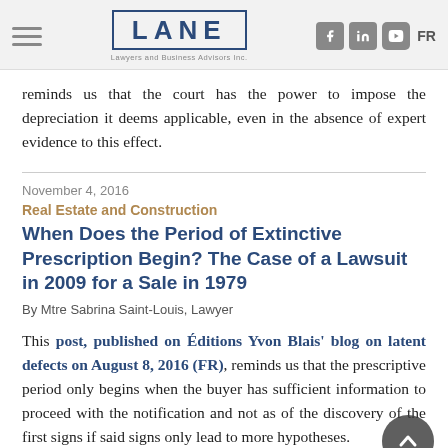LANE — Lawyers and Business Advisors Inc. | FR
reminds us that the court has the power to impose the depreciation it deems applicable, even in the absence of expert evidence to this effect.
November 4, 2016
Real Estate and Construction
When Does the Period of Extinctive Prescription Begin? The Case of a Lawsuit in 2009 for a Sale in 1979
By Mtre Sabrina Saint-Louis, Lawyer
This post, published on Éditions Yvon Blais' blog on latent defects on August 8, 2016 (FR), reminds us that the prescriptive period only begins when the buyer has sufficient information to proceed with the notification and not as of the discovery of the first signs if said signs only lead to more hypotheses.